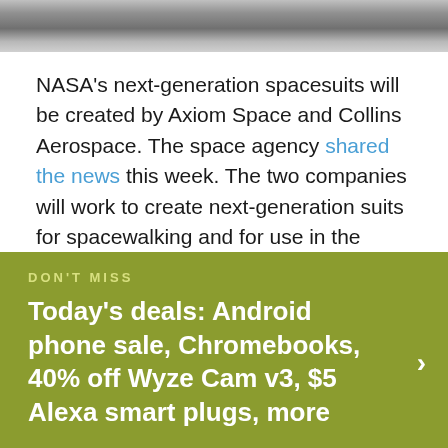[Figure (photo): Partial black and white photo of astronaut(s) in spacesuits, cropped at top of page]
NASA's next-generation spacesuits will be created by Axiom Space and Collins Aerospace. The space agency shared the news this week. The two companies will work to create next-generation suits for spacewalking and for use in the upcoming NASA Artemis missions.
DON'T MISS
Today's deals: Android phone sale, Chromebooks, 40% off Wyze Cam v3, $5 Alexa smart plugs, more